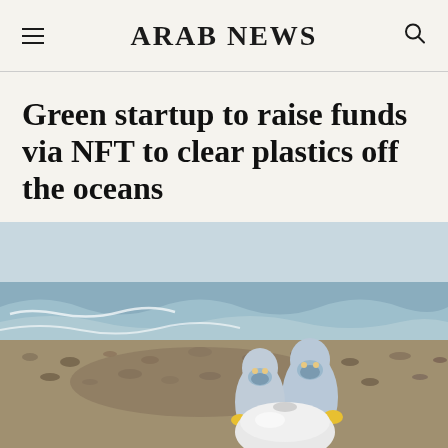ARAB NEWS
Green startup to raise funds via NFT to clear plastics off the oceans
[Figure (photo): Two workers in blue protective suits and yellow gloves carrying a large white plastic bag on a rocky beach with ocean waves in the background]